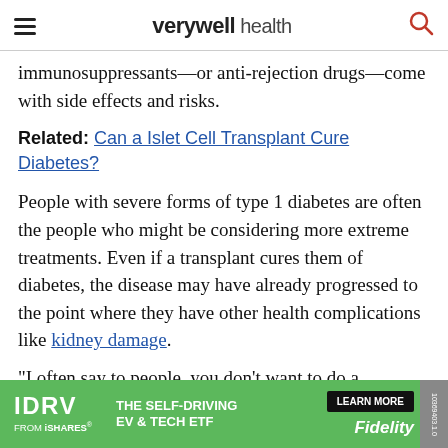verywell health
immunosuppressants—or anti-rejection drugs—come with side effects and risks.
Related: Can a Islet Cell Transplant Cure Diabetes?
People with severe forms of type 1 diabetes are often the people who might be considering more extreme treatments. Even if a transplant cures them of diabetes, the disease may have already progressed to the point where they have other health complications like kidney damage.
“I often say to people, you don't want to do a transplant too soon—because I don't know if it
[Figure (other): Advertisement banner for IDRV from iShares - The Self-Driving EV & Tech ETF, with Learn More button and Fidelity branding]